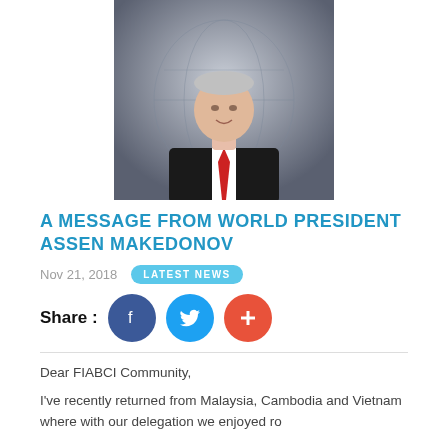[Figure (photo): Portrait photo of a man in dark suit with red tie, grey hair, smiling, against a grey world map background]
A MESSAGE FROM WORLD PRESIDENT ASSEN MAKEDONOV
Nov 21, 2018   LATEST NEWS
Share :
Dear FIABCI Community,
I've recently returned from Malaysia, Cambodia and Vietnam where with our delegation we enjoyed ro